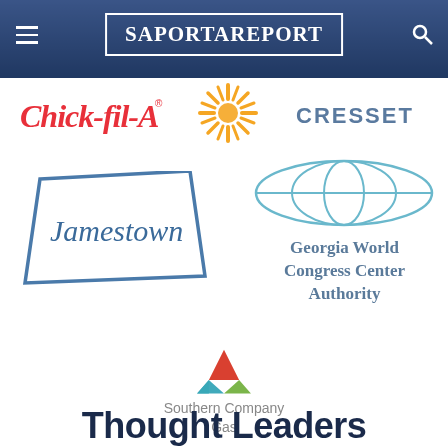SaportaReport
[Figure (logo): Chick-fil-A logo in red cursive script]
[Figure (logo): Sunburst/starburst logo in orange/gold]
[Figure (logo): Cresset logo text partially cropped]
[Figure (logo): Jamestown logo in blue with rectangular border outline]
[Figure (logo): Georgia World Congress Center Authority logo with globe ellipse and text]
[Figure (logo): Southern Company Gas logo with triangle flame icon]
Thought Leaders